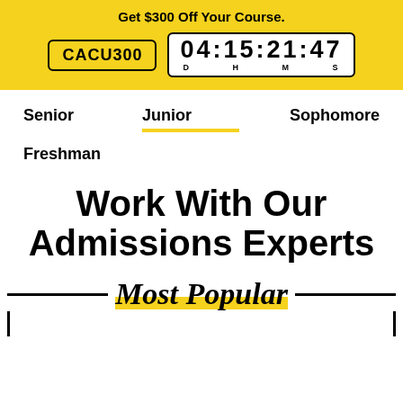Get $300 Off Your Course.
CACU300  04:15:21:47  D H M S
Senior
Junior
Sophomore
Freshman
Work With Our Admissions Experts
Most Popular